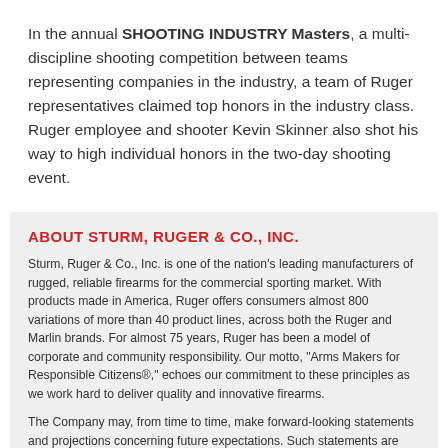In the annual SHOOTING INDUSTRY Masters, a multi-discipline shooting competition between teams representing companies in the industry, a team of Ruger representatives claimed top honors in the industry class. Ruger employee and shooter Kevin Skinner also shot his way to high individual honors in the two-day shooting event.
ABOUT STURM, RUGER & CO., INC.
Sturm, Ruger & Co., Inc. is one of the nation's leading manufacturers of rugged, reliable firearms for the commercial sporting market. With products made in America, Ruger offers consumers almost 800 variations of more than 40 product lines, across both the Ruger and Marlin brands. For almost 75 years, Ruger has been a model of corporate and community responsibility. Our motto, "Arms Makers for Responsible Citizens®," echoes our commitment to these principles as we work hard to deliver quality and innovative firearms.
The Company may, from time to time, make forward-looking statements and projections concerning future expectations. Such statements are based on